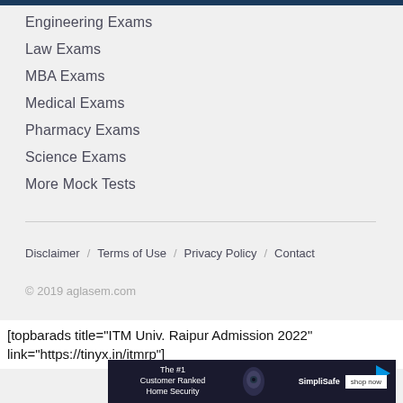Engineering Exams
Law Exams
MBA Exams
Medical Exams
Pharmacy Exams
Science Exams
More Mock Tests
Disclaimer / Terms of Use / Privacy Policy / Contact
© 2019 aglasem.com
[topbarads title="ITM Univ. Raipur Admission 2022" link="https://tinyx.in/itmrp"]
[Figure (screenshot): Advertisement banner for SimpliSafe home security with text 'The #1 Customer Ranked Home Security' and a shop now button]